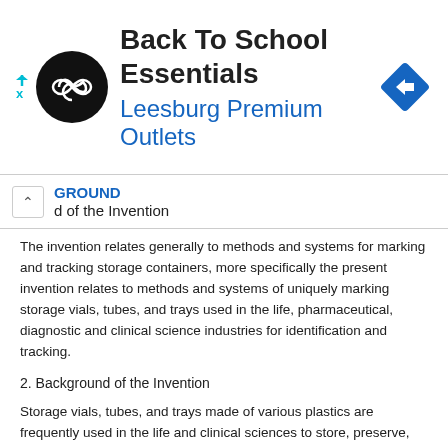[Figure (other): Advertisement banner for Back To School Essentials at Leesburg Premium Outlets, featuring a circular black logo with a loop symbol, a blue directional road sign icon, and text.]
BACKGROUND / Field of the Invention
The invention relates generally to methods and systems for marking and tracking storage containers, more specifically the present invention relates to methods and systems of uniquely marking storage vials, tubes, and trays used in the life, pharmaceutical, diagnostic and clinical science industries for identification and tracking.
2. Background of the Invention
Storage vials, tubes, and trays made of various plastics are frequently used in the life and clinical sciences to store, preserve, and categorize the various chemicals, compounds, samples, and/or other materials which they contain. Currently within the industry such storage containers are manufactured through a process known as either injection molding or injection blow molding. This allows for the accurate, reliable, fast and clean manufacturing of plastic parts. These manufacturing techniques allow the products produced to be either clean room produced in order to ensure that there is no contamination to the end user's sample and/or will allow for the